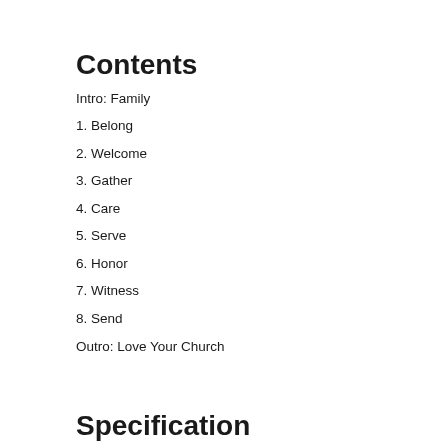Contents
Intro: Family
1. Belong
2. Welcome
3. Gather
4. Care
5. Serve
6. Honor
7. Witness
8. Send
Outro: Love Your Church
Specification